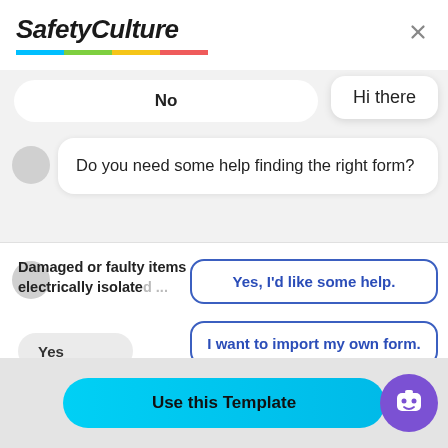[Figure (logo): SafetyCulture logo in bold italic with colorful underline]
[Figure (screenshot): Chat interface showing 'Hi there' bubble, 'Do you need some help finding the right form?' message, and three option buttons: 'Yes, I'd like some help.', 'I want to import my own form.', 'No, I'm good. Thanks!']
No
Hi there
Do you need some help finding the right form?
Damaged or faulty items electrically isolate
Yes, I'd like some help.
I want to import my own form.
No, I'm good. Thanks!
Yes
No
Use this Template